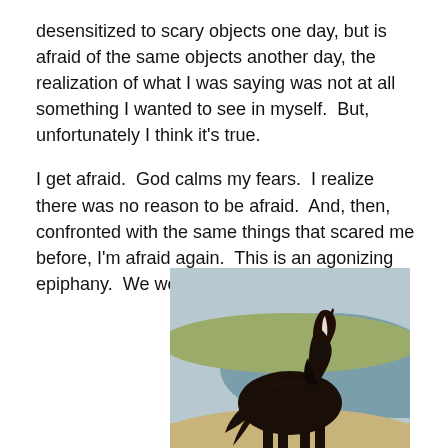desensitized to scary objects one day, but is afraid of the same objects another day, the realization of what I was saying was not at all something I wanted to see in myself.  But, unfortunately I think it's true.
I get afraid.  God calms my fears.  I realize there was no reason to be afraid.  And, then, confronted with the same things that scared me before, I'm afraid again.  This is an agonizing epiphany.  We worry
[Figure (photo): A dark brown/black horse standing near a pond or water body, with sandy ground. The horse has a white blaze on its face and is viewed from the side.]